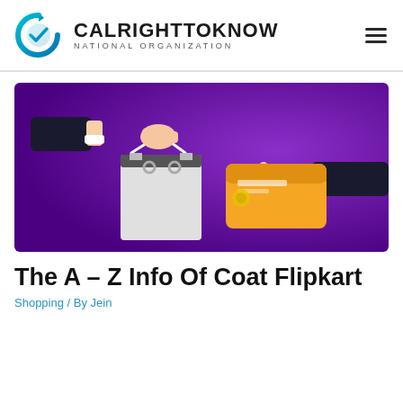CALRIGHTTOKNOW NATIONAL ORGANIZATION
[Figure (illustration): Illustration on purple background showing a hand in a suit sleeve holding a shopping bag on the left, and another hand in a suit sleeve holding a gold/orange credit card on the right.]
The A – Z Info Of Coat Flipkart
Shopping / By Jein